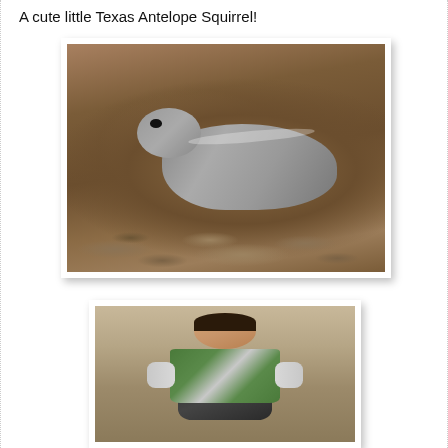A cute little Texas Antelope Squirrel!
[Figure (photo): A Texas Antelope Squirrel photographed close up on rocky ground, viewed from the side with its head turned toward camera]
[Figure (photo): A young boy viewed from behind, wearing a green and white striped shirt and carrying a black backpack, standing outdoors]